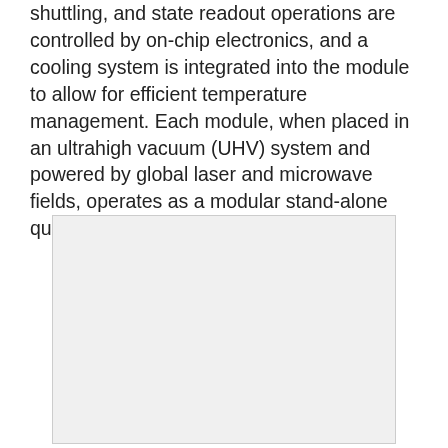shuttling, and state readout operations are controlled by on-chip electronics, and a cooling system is integrated into the module to allow for efficient temperature management. Each module, when placed in an ultrahigh vacuum (UHV) system and powered by global laser and microwave fields, operates as a modular stand-alone quantum computer.
[Figure (other): A light gray rectangular figure/image placeholder occupying the lower portion of the page.]